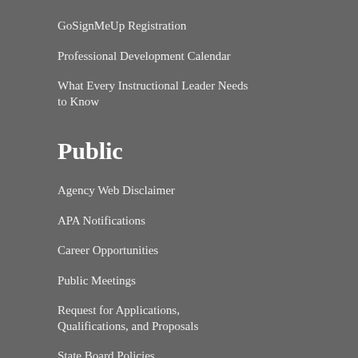GoSignMeUp Registration
Professional Development Calendar
What Every Instructional Leader Needs to Know
Public
Agency Web Disclaimer
APA Notifications
Career Opportunities
Public Meetings
Request for Applications, Qualifications, and Proposals
State Board Policies